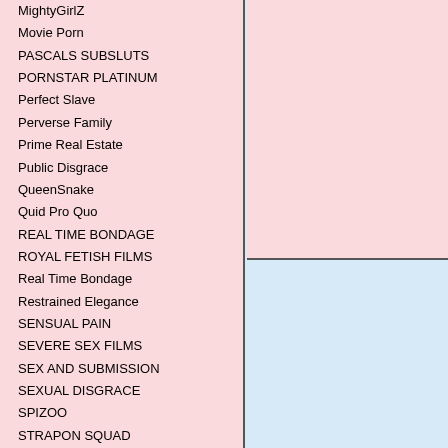MightyGirlZ
Movie Porn
PASCALS SUBSLUTS
PORNSTAR PLATINUM
Perfect Slave
Perverse Family
Prime Real Estate
Public Disgrace
QueenSnake
Quid Pro Quo
REAL TIME BONDAGE
ROYAL FETISH FILMS
Real Time Bondage
Restrained Elegance
SENSUAL PAIN
SEVERE SEX FILMS
SEX AND SUBMISSION
SEXUAL DISGRACE
SPIZOO
STRAPON SQUAD
STRUGGLING BABES
SUBMISSIVE X
SUBMISSIVED
Sensual Pain